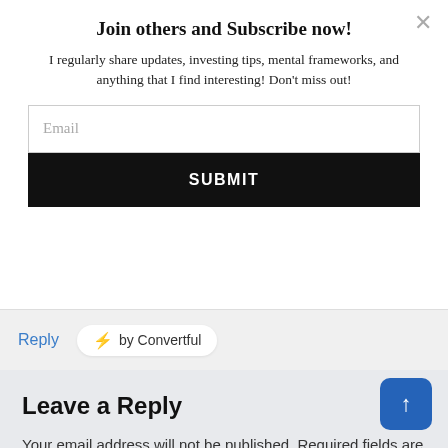Join others and Subscribe now!
I regularly share updates, investing tips, mental frameworks, and anything that I find interesting! Don't miss out!
Email
SUBMIT
Reply
⚡ by Convertful
Leave a Reply
Your email address will not be published. Required fields are marked *
Comment *